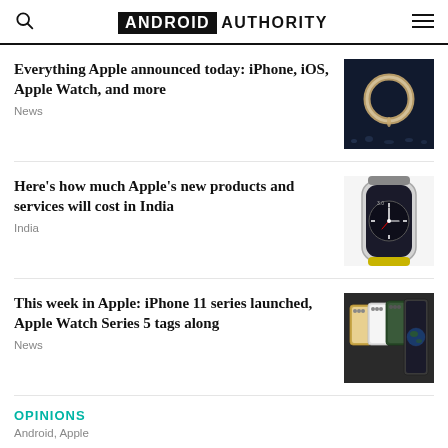ANDROID AUTHORITY
Everything Apple announced today: iPhone, iOS, Apple Watch, and more
News
Here's how much Apple's new products and services will cost in India
India
This week in Apple: iPhone 11 series launched, Apple Watch Series 5 tags along
News
OPINIONS
Android, Apple